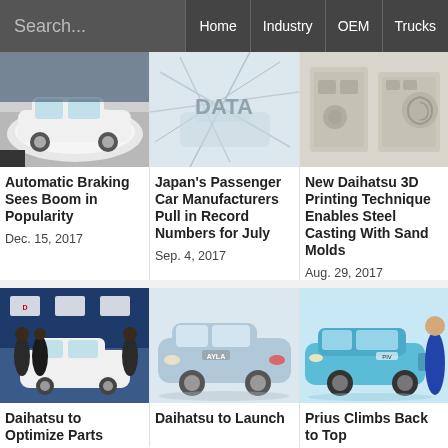Search... | Home | Industry | OEM | Trucks
[Figure (photo): White Subaru sedan on road]
Automatic Braking Sees Boom in Popularity
Dec. 15, 2017
[Figure (photo): DATA text overlay on cars/map background]
Japan's Passenger Car Manufacturers Pull in Record Numbers for July
Sep. 4, 2017
[Figure (photo): Daihatsu 3D printed sand mold parts]
New Daihatsu 3D Printing Technique Enables Steel Casting With Sand Molds
Aug. 29, 2017
[Figure (photo): Daihatsu executives with white car at event]
Daihatsu to Optimize Parts
[Figure (photo): Silver-blue Daihatsu Ayla compact car]
Daihatsu to Launch
[Figure (photo): Cyan/blue Toyota Prius with woman in blue dress]
Prius Climbs Back to Top